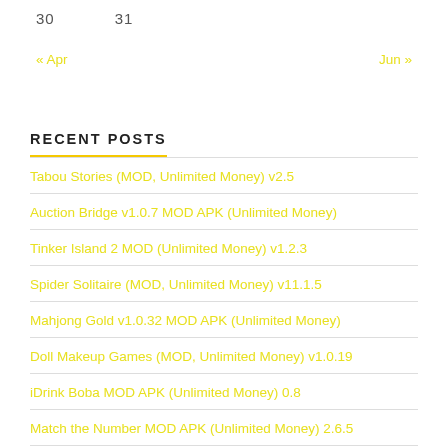30   31
« Apr   Jun »
RECENT POSTS
Tabou Stories (MOD, Unlimited Money) v2.5
Auction Bridge v1.0.7 MOD APK (Unlimited Money)
Tinker Island 2 MOD (Unlimited Money) v1.2.3
Spider Solitaire (MOD, Unlimited Money) v11.1.5
Mahjong Gold v1.0.32 MOD APK (Unlimited Money)
Doll Makeup Games (MOD, Unlimited Money) v1.0.19
iDrink Boba MOD APK (Unlimited Money) 0.8
Match the Number MOD APK (Unlimited Money) 2.6.5